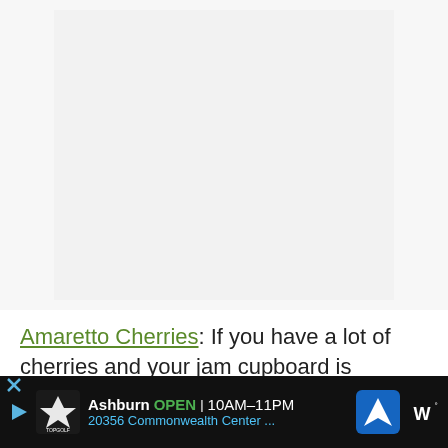[Figure (photo): Large image placeholder area, mostly white/light gray, appears to be a food or recipe image that failed to load]
Amaretto Cherries: If you have a lot of cherries and your jam cupboard is
[Figure (other): Advertisement bar at bottom: Topgolf logo, Ashburn OPEN 10AM-11PM, 20356 Commonwealth Center ..., with navigation arrow icon and Waze icon]